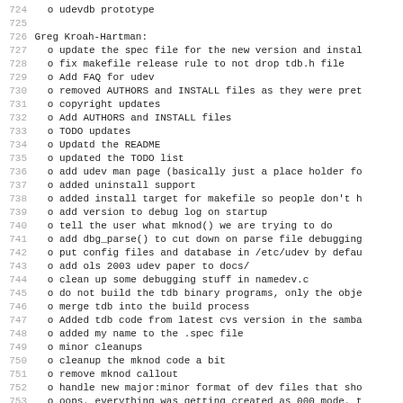724   o udevdb prototype
725
726 Greg Kroah-Hartman:
727   o update the spec file for the new version and instal
728   o fix makefile release rule to not drop tdb.h file
729   o Add FAQ for udev
730   o removed AUTHORS and INSTALL files as they were pret
731   o copyright updates
732   o Add AUTHORS and INSTALL files
733   o TODO updates
734   o Updatd the README
735   o updated the TODO list
736   o add udev man page (basically just a place holder fo
737   o added uninstall support
738   o added install target for makefile so people don't h
739   o add version to debug log on startup
740   o tell the user what mknod() we are trying to do
741   o add dbg_parse() to cut down on parse file debugging
742   o put config files and database in /etc/udev by defau
743   o add ols 2003 udev paper to docs/
744   o clean up some debugging stuff in namedev.c
745   o do not build the tdb binary programs, only the obje
746   o merge tdb into the build process
747   o Added tdb code from latest cvs version in the samba
748   o added my name to the .spec file
749   o minor cleanups
750   o cleanup the mknod code a bit
751   o remove mknod callout
752   o handle new major:minor format of dev files that sho
753   o oops, everything was getting created as 000 mode, t
754   o more test stuff
755
756 (partial, cut off)